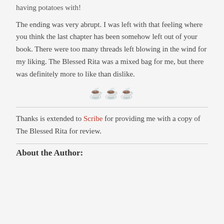having potatoes with!
The ending was very abrupt. I was left with that feeling where you think the last chapter has been somehow left out of your book. There were too many threads left blowing in the wind for my liking. The Blessed Rita was a mixed bag for me, but there was definitely more to like than dislike.
[Figure (illustration): Three coffee cup emoji icons centered on the page as a rating indicator]
Thanks is extended to Scribe for providing me with a copy of The Blessed Rita for review.
About the Author: